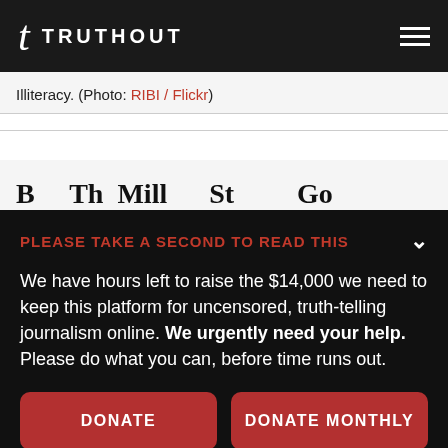TRUTHOUT
Illiteracy. (Photo: RIBI / Flickr)
PLEASE TAKE A SECOND TO READ THIS
We have hours left to raise the $14,000 we need to keep this platform for uncensored, truth-telling journalism online. We urgently need your help. Please do what you can, before time runs out.
DONATE
DONATE MONTHLY